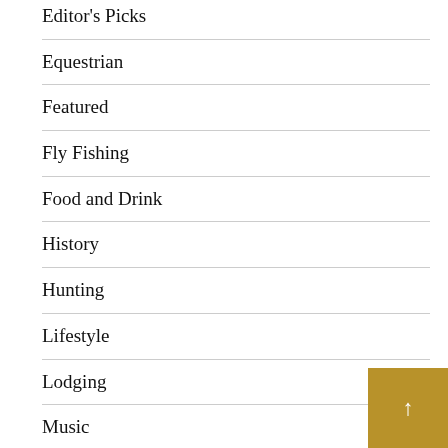Editor's Picks
Equestrian
Featured
Fly Fishing
Food and Drink
History
Hunting
Lifestyle
Lodging
Music
Outfitted